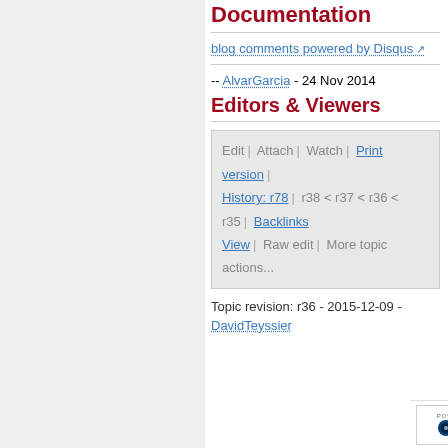Documentation
blog comments powered by Disqus
-- AlvarGarcia - 24 Nov 2014
Editors & Viewers
Edit | Attach | Watch | Print version | History: r78 | r38 < r37 < r36 < r35 | Backlinks | View | Raw edit | More topic actions...
Topic revision: r36 - 2015-12-09 - DavidTeyssier
[Figure (logo): Powered by Perl logo and TWiki collaborate logo in footer]